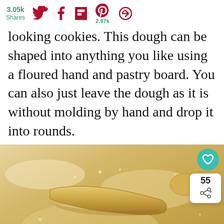3.05k Shares
looking cookies. This dough can be shaped into anything you like using a floured hand and pastry board. You can also just leave the dough as it is without molding by hand and drop it into rounds.
[Figure (photo): Cookie dough shaped into rolls on a floured pastry board, viewed from above. Shows yellow dough pieces dusted with flour on a light floured surface.]
WHAT'S NEXT → Grandma's Italian...
You can help hungry kids. NO KID HUNGRY LEARN HOW